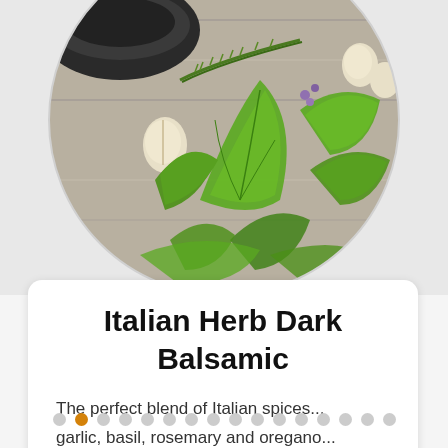[Figure (photo): A circular cropped photograph of fresh Italian herbs including rosemary, basil, parsley, oregano, and garlic on a wooden surface, with a dark bowl or mortar visible in the upper left.]
Italian Herb Dark Balsamic
The perfect blend of Italian spices... garlic, basil, rosemary and oregano... makes this ...